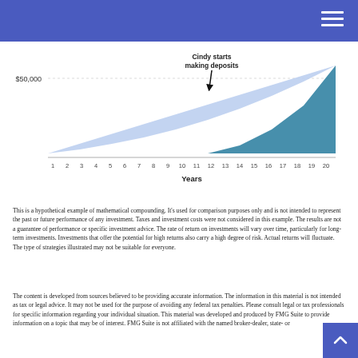[Figure (area-chart): Area chart showing two overlapping growth areas over 20 years. Light blue area starts from year 1 growing slowly, dark teal area begins at year 11 (when Cindy starts making deposits) and grows steeply. Annotation arrow points to year 11 labeled 'Cindy starts making deposits'.]
This is a hypothetical example of mathematical compounding. It's used for comparison purposes only and is not intended to represent the past or future performance of any investment. Taxes and investment costs were not considered in this example. The results are not a guarantee of performance or specific investment advice. The rate of return on investments will vary over time, particularly for long-term investments. Investments that offer the potential for high returns also carry a high degree of risk. Actual returns will fluctuate. The type of strategies illustrated may not be suitable for everyone.
The content is developed from sources believed to be providing accurate information. The information in this material is not intended as tax or legal advice. It may not be used for the purpose of avoiding any federal tax penalties. Please consult legal or tax professionals for specific information regarding your individual situation. This material was developed and produced by FMG Suite to provide information on a topic that may be of interest. FMG Suite is not affiliated with the named broker-dealer, state- or SEC-registered investment advisory firm. The opinions expressed and material provided are for general information, and should not be considered a solicitation for the purchase or sale of any security.